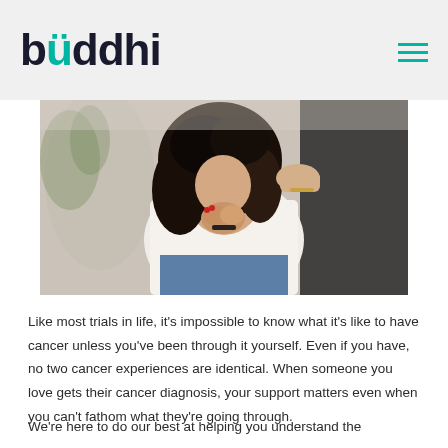buddhi
[Figure (photo): Two women, one with curly dark hair wearing a white t-shirt, hands clasped near her face in an emotional pose, being comforted by another person placing hand on her shoulder. Warm indoor setting.]
Like most trials in life, it's impossible to know what it's like to have cancer unless you've been through it yourself. Even if you have, no two cancer experiences are identical. When someone you love gets their cancer diagnosis, your support matters even when you can't fathom what they're going through.
We're here to do our best at helping you understand the